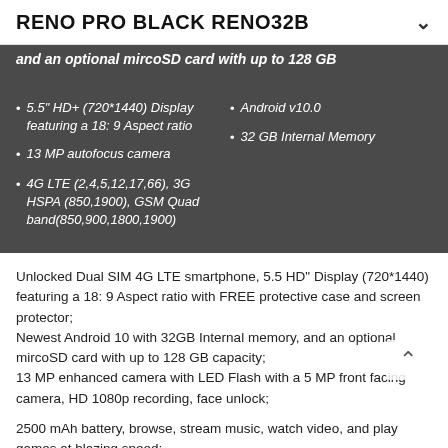RENO PRO BLACK RENO32B
and an optional mircoSD card with up to 128 GB
5.5" HD+ (720*1440) Display featuring a 18: 9 Aspect ratio
Android v10.0
13 MP autofocus camera
32 GB Internal Memory
4G LTE (2,4,5,12,17,66), 3G HSPA (850,1900), GSM Quad band(850,900,1800,1900)
Unlocked Dual SIM 4G LTE smartphone, 5.5 HD" Display (720*1440) featuring a 18: 9 Aspect ratio with FREE protective case and screen protector;
Newest Android 10 with 32GB Internal memory, and an optional mircoSD card with up to 128 GB capacity;
13 MP enhanced camera with LED Flash with a 5 MP front facing camera, HD 1080p recording, face unlock;
2500 mAh battery, browse, stream music, watch video, and play games at blazing speed;